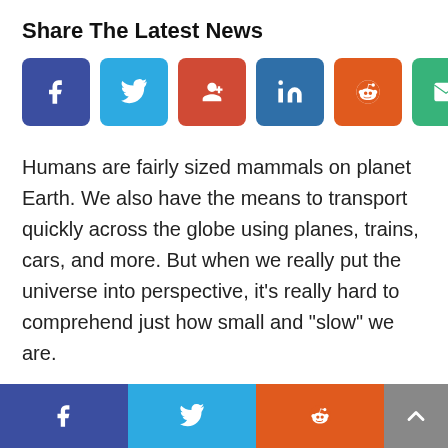Share The Latest News
[Figure (infographic): Row of 6 social share buttons: Facebook (dark blue), Twitter (light blue), Google+ (red), LinkedIn (blue), Reddit (orange), Email (green)]
Humans are fairly sized mammals on planet Earth. We also have the means to transport quickly across the globe using planes, trains, cars, and more. But when we really put the universe into perspective, it’s really hard to comprehend just how small and “slow” we are.
Luckily, You Are Here will allow us to virtually experience the great vastness of our unive…
[Figure (infographic): Bottom sticky bar with Facebook (dark blue), Twitter (light blue), Reddit (orange) share buttons and a gray scroll-to-top button with up arrow]